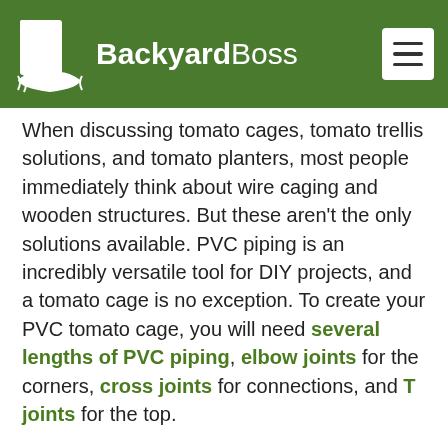BackyardBoss
When discussing tomato cages, tomato trellis solutions, and tomato planters, most people immediately think about wire caging and wooden structures. But these aren't the only solutions available. PVC piping is an incredibly versatile tool for DIY projects, and a tomato cage is no exception. To create your PVC tomato cage, you will need several lengths of PVC piping, elbow joints for the corners, cross joints for connections, and T joints for the top.
The best part about working with PVC is that it easily connects like assembling a puzzle. It's also easy to customize to any space by adjusting the lengths of the PVC piping that you are using or including fewer or more sections of the tomato cage. If you want to give it a more polished look, take the time to paint your…